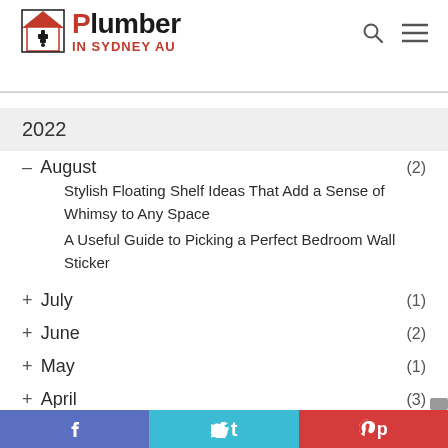Plumber IN SYDNEY AU
2022
– August (2)
Stylish Floating Shelf Ideas That Add a Sense of Whimsy to Any Space
A Useful Guide to Picking a Perfect Bedroom Wall Sticker
+ July (1)
+ June (2)
+ May (1)
+ April (3)
+ March (1)
+ February (3)
f  t  p